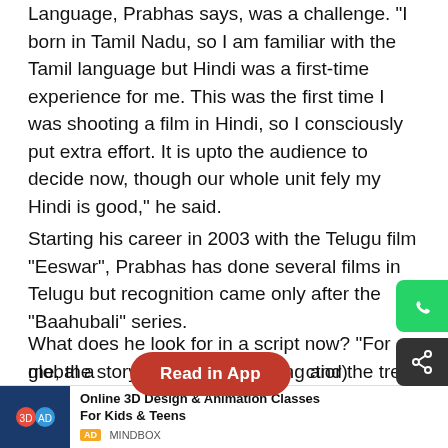Language, Prabhas says, was a challenge. "I born in Tamil Nadu, so I am familiar with the Tamil language but Hindi was a first-time experience for me. This was the first time I was shooting a film in Hindi, so I consciously put extra effort. It is upto the audience to decide now, though our whole unit fely my Hindi is good," he said.
Starting his career in 2003 with the Telugu film "Eeswar", Prabhas has done several films in Telugu but recognition came only after the "Baahubali" series.
What does he look for in a script now? "For me, the story has to be engaging and the tre[Read in App]tory has to be designed to entertain the audience. It is not star power (that I look at). Rather, I look at my character in the film as secondary because the script is what we are contributing to. In 'Baahubali', too, the global a... ctior) Rajamo... story
[Figure (screenshot): Red 'Read in App' pill button overlay on text]
[Figure (screenshot): WhatsApp share icon (green) and Share icon (dark) on right edge]
Online 3D Design & Animation Classes For Kids & Teens
AD MINDBOX